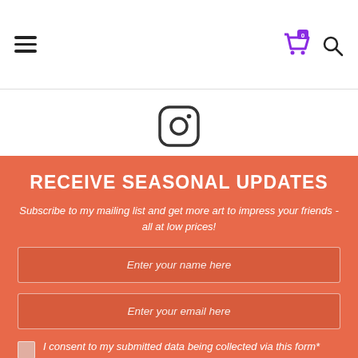Navigation header with hamburger menu, cart icon with badge 0, and search icon
[Figure (logo): Instagram logo icon (rounded square with camera icon)]
RECEIVE SEASONAL UPDATES
Subscribe to my mailing list and get more art to impress your friends - all at low prices!
Enter your name here
Enter your email here
I consent to my submitted data being collected via this form*